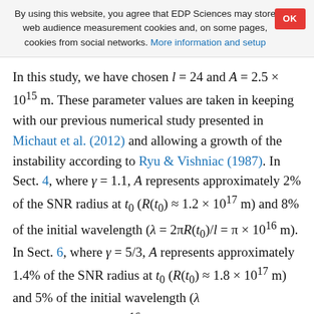By using this website, you agree that EDP Sciences may store web audience measurement cookies and, on some pages, cookies from social networks. More information and setup
In this study, we have chosen l = 24 and A = 2.5 × 10^15 m. These parameter values are taken in keeping with our previous numerical study presented in Michaut et al. (2012) and allowing a growth of the instability according to Ryu & Vishniac (1987). In Sect. 4, where γ = 1.1, A represents approximately 2% of the SNR radius at t_0 (R(t_0) ≈ 1.2 × 10^17 m) and 8% of the initial wavelength (λ = 2πR(t_0)/l = π × 10^16 m). In Sect. 6, where γ = 5/3, A represents approximately 1.4% of the SNR radius at t_0 (R(t_0) ≈ 1.8 × 10^17 m) and 5% of the initial wavelength (λ = 2πR(t_)/l ≈ 4.7 × 10^16 m)